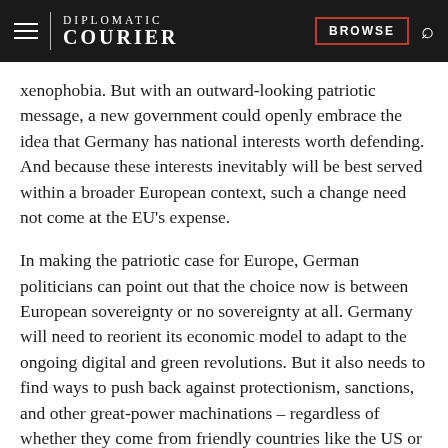DIPLOMATIC COURIER | BROWSE
xenophobia. But with an outward-looking patriotic message, a new government could openly embrace the idea that Germany has national interests worth defending. And because these interests inevitably will be best served within a broader European context, such a change need not come at the EU's expense.
In making the patriotic case for Europe, German politicians can point out that the choice now is between European sovereignty or no sovereignty at all. Germany will need to reorient its economic model to adapt to the ongoing digital and green revolutions. But it also needs to find ways to push back against protectionism, sanctions, and other great-power machinations – regardless of whether they come from friendly countries like the US or less friendly ones like China.